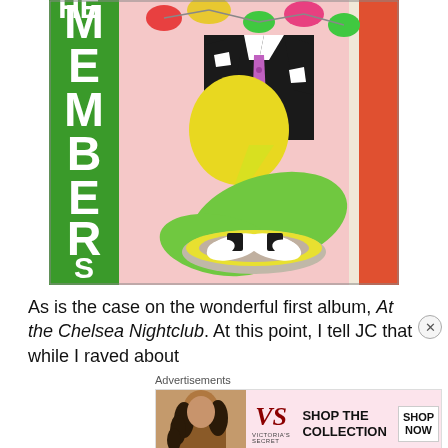[Figure (illustration): Album cover for 'The Members - At the Chelsea Nightclub'. Green left stripe with white letters spelling MEMBERS vertically, colorful pop-art illustration of headless suited figure with shoes on a plate, orange right stripe with rotated text 'THE CHELSEA NIGHTCLUB'.]
As is the case on the wonderful first album, At the Chelsea Nightclub. At this point, I tell JC that while I raved about
Advertisements
[Figure (screenshot): Victoria's Secret advertisement banner: model photo on left, VS logo and 'VICTORIA'S SECRET' text in center, 'SHOP THE COLLECTION' text and 'SHOP NOW' button on right, pink background.]